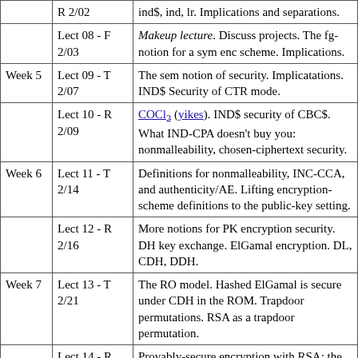| Week | Lecture | Description |
| --- | --- | --- |
|  | R 2/02 | ind$, ind, lr. Implications and separations. |
|  | Lect 08 - F 2/03 | Makeup lecture. Discuss projects. The fg-notion for a sym enc scheme. Implications. |
| Week 5 | Lect 09 - T 2/07 | The sem notion of security. Implicatations. IND$ Security of CTR mode. |
|  | Lect 10 - R 2/09 | COCl2 (yikes). IND$ security of CBC$. What IND-CPA doesn't buy you: nonmalleability, chosen-ciphertext security. |
| Week 6 | Lect 11 - T 2/14 | Definitions for nonmalleability, INC-CCA, and authenticity/AE. Lifting encryption-scheme definitions to the public-key setting. |
|  | Lect 12 - R 2/16 | More notions for PK encryption security. DH key exchange. ElGamal encryption. DL, CDH, DDH. |
| Week 7 | Lect 13 - T 2/21 | The RO model. Hashed ElGamal is secure under CDH in the ROM. Trapdoor permutations. RSA as a trapdoor permutation. |
|  | Lect 14 - R 2/23 | Provably-secure encryption with RSA: the lsb is hardcore. The Goldreich-Levin hardcore bit. Enc by f(r)||G(r)+M and OAEP. |
| Week 8 | Lect 15 - T 2/28 | Solns to two homework problems. Defns for digital signature. Why Raw RSA sigs don't work. FDH and its ROM security. |